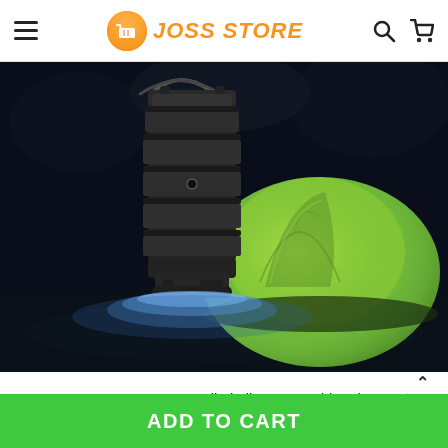JOSS STORE
[Figure (photo): A black cylindrical camping lantern glowing blue at the base, placed on dark ground next to a bright green illuminated tent in a night outdoor setting.]
TOP
SUPER BRIGHT – No more dimly-lit spaces, this advanced
ADD TO CART